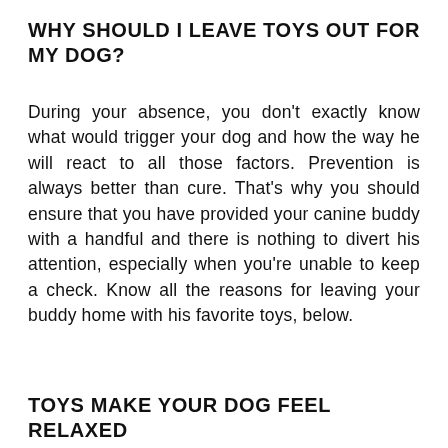WHY SHOULD I LEAVE TOYS OUT FOR MY DOG?
During your absence, you don't exactly know what would trigger your dog and how the way he will react to all those factors. Prevention is always better than cure. That's why you should ensure that you have provided your canine buddy with a handful and there is nothing to divert his attention, especially when you're unable to keep a check. Know all the reasons for leaving your buddy home with his favorite toys, below.
TOYS MAKE YOUR DOG FEEL RELAXED